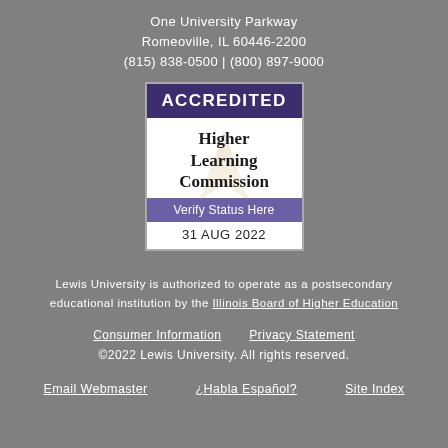One University Parkway
Romeoville, IL 60446-2200
(815) 838-0500 | (800) 897-9000
[Figure (logo): Higher Learning Commission Accredited badge with purple header reading ACCREDITED, white middle section with HLC torch logo watermark and text Higher Learning Commission, purple Verify Status Here bar, and date 31 AUG 2022]
Lewis University is authorized to operate as a postsecondary educational institution by the Illinois Board of Higher Education
Consumer Information   Privacy Statement
©2022 Lewis University. All rights reserved.
Email Webmaster   ¿Habla Español?   Site Index